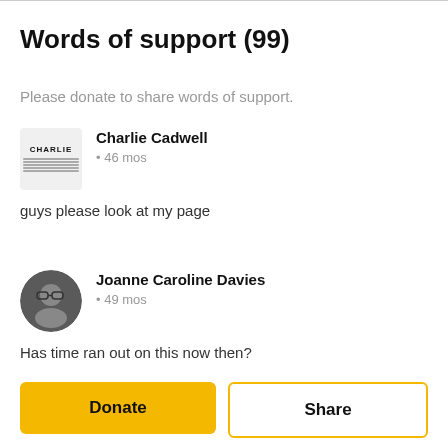Words of support (99)
Please donate to share words of support.
Charlie Cadwell
• 46 mos
guys please look at my page
Joanne Caroline Davies
• 49 mos
Has time ran out on this now then?
Donate
Share